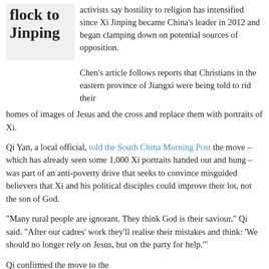flock to Jinping activists say hostility to religion has intensified since Xi Jinping became China's leader in 2012 and began clamping down on potential sources of opposition.
Chen's article follows reports that Christians in the eastern province of Jiangxi were being told to rid their homes of images of Jesus and the cross and replace them with portraits of Xi.
Qi Yan, a local official, told the South China Morning Post the move – which has already seen some 1,000 Xi portraits handed out and hung – was part of an anti-poverty drive that seeks to convince misguided believers that Xi and his political disciples could improve their lot, not the son of God.
“Many rural people are ignorant. They think God is their saviour,” Qi said. “After our cadres’ work they’ll realise their mistakes and think: ‘We should no longer rely on Jesus, but on the party for help.’”
Qi confirmed the move to the Guardian: “Yes it’s true. This follows [the idea] of converting belief in religion